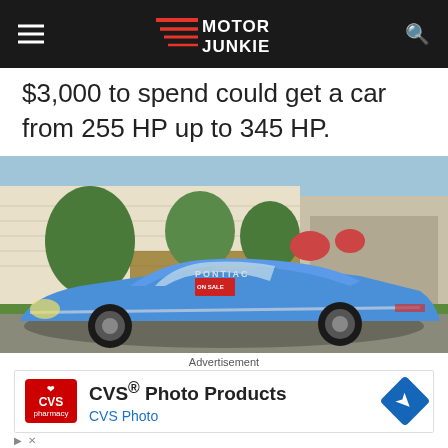Motor Junkie
$3,000 to spend could get a car from 255 HP up to 345 HP.
[Figure (photo): Blue Pontiac muscle car (for sale) parked in a residential driveway, with a house and garage in the background. A red 'ON SALE' sign is visible on the windshield.]
Advertisement
[Figure (infographic): CVS Photo Products advertisement banner. Shows CVS pharmacy logo, text 'CVS® Photo Products' and 'CVS Photo', with a blue direction arrow icon on the right.]